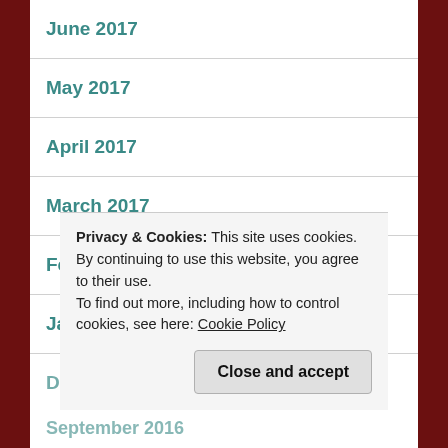June 2017
May 2017
April 2017
March 2017
February 2017
January 2017
December 2016
Privacy & Cookies: This site uses cookies. By continuing to use this website, you agree to their use.
To find out more, including how to control cookies, see here: Cookie Policy
September 2016